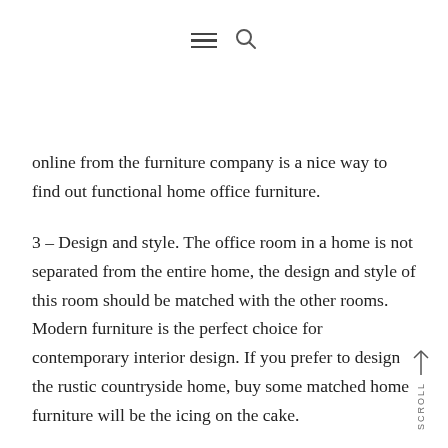[hamburger menu icon] [search icon]
online from the furniture company is a nice way to find out functional home office furniture.
3 – Design and style. The office room in a home is not separated from the entire home, the design and style of this room should be matched with the other rooms. Modern furniture is the perfect choice for contemporary interior design. If you prefer to design the rustic countryside home, buy some matched home furniture will be the icing on the cake.
SCROLL ↑